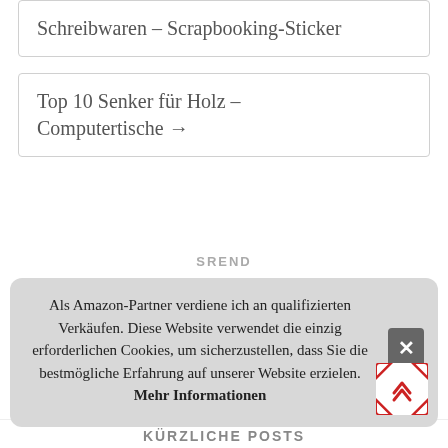Schreibwaren – Scrapbooking-Sticker
Top 10 Senker für Holz – Computertische →
Als Amazon-Partner verdiene ich an qualifizierten Verkäufen. Diese Website verwendet die einzig erforderlichen Cookies, um sicherzustellen, dass Sie die bestmögliche Erfahrung auf unserer Website erzielen. Mehr Informationen
KÜRZLICHE POSTS